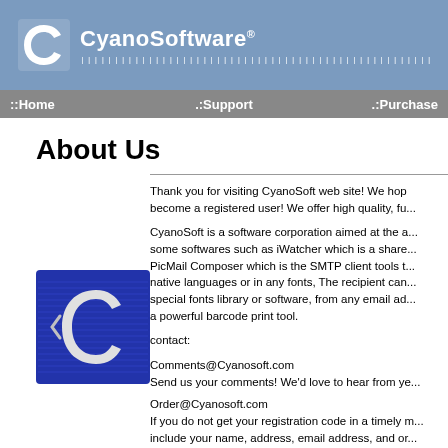CyanoSoftware® [barcode]
::Home  ::Support  ::Purchase
About Us
[Figure (logo): CyanoSoft logo — blue square with white stylized C and circular design with horizontal lines]
Thank you for visiting CyanoSoft web site! We hope you will become a registered user! We offer high quality, fu...
CyanoSoft is a software corporation aimed at the a... some softwares such as iWatcher which is a share... PicMail Composer which is the SMTP client tools t... native languages or in any fonts, The recipient can... special fonts library or software, from any email ad... a powerful barcode print tool.
contact:
Comments@Cyanosoft.com
Send us your comments! We'd love to hear from ye...
Order@Cyanosoft.com
If you do not get your registration code in a timely m... include your name, address, email address, and or... happy to help you.
Support@Cyanosoft.com